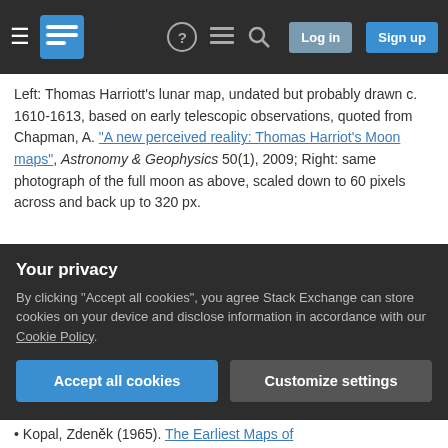Stack Exchange navigation bar with hamburger menu, logo, help, chat, search, Log in, Sign up buttons
Left: Thomas Harriott's lunar map, undated but probably drawn c. 1610-1613, based on early telescopic observations, quoted from Chapman, A. "A new perceived reality: Thomas Harriot's Moon maps", Astronomy & Geophysics 50(1), 2009; Right: same photograph of the full moon as above, scaled down to 60 pixels across and back up to 320 px.
Based on this historical digression, we may thus conclude that the 40 pixel image of the moon, as shown in the question above, indeed does fairly accurately represent the level of detail visible to an
Your privacy
By clicking "Accept all cookies", you agree Stack Exchange can store cookies on your device and disclose information in accordance with our Cookie Policy.
Kopal, Zdeněk (1965). The Earliest Maps of the Moon